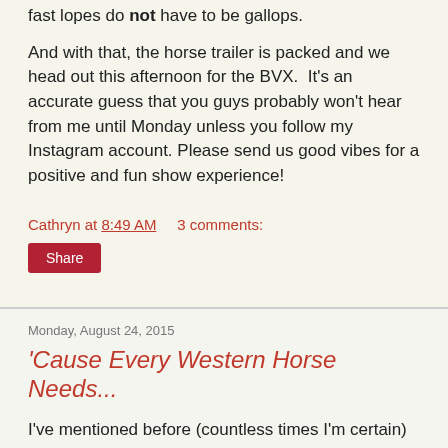fast lopes do not have to be gallops.
And with that, the horse trailer is packed and we head out this afternoon for the BVX.  It's an accurate guess that you guys probably won't hear from me until Monday unless you follow my Instagram account. Please send us good vibes for a positive and fun show experience!
Cathryn at 8:49 AM    3 comments:
Share
Monday, August 24, 2015
'Cause Every Western Horse Needs...
I've mentioned before (countless times I'm certain) that Suzie is not an English horse.